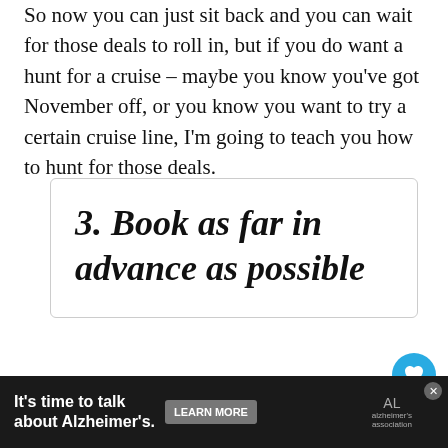So now you can just sit back and you can wait for those deals to roll in, but if you do want a hunt for a cruise – maybe you know you've got November off, or you know you want to try a certain cruise line, I'm going to teach you how to hunt for those deals.
3. Book as far in advance as possible
If you can book far in advance, DO IT! I... usually organised enough to book that far in advance, but I do know friends who've booked two, so... which
[Figure (screenshot): What's Next advertisement overlay with Emma Cruises logo]
[Figure (infographic): Advertisement bar: It's time to talk about Alzheimer's. LEARN MORE button and Alzheimer's Association logo]